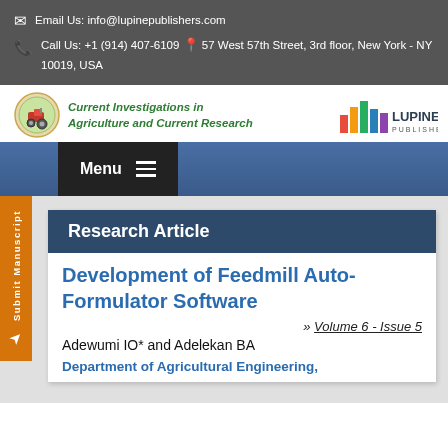Email Us: info@lupinepublishers.com
Call Us: +1 (914) 407-6109  57 West 57th Street, 3rd floor, New York - NY 10019, USA
[Figure (logo): Current Investigations in Agriculture and Current Research journal logo with tractor icon and Lupine Publishers colorful bar logo]
Menu
Development of Feedmill Auto-Formulator Software
» Volume 6 - Issue 5
Adewumi IO* and Adelekan BA
Department of Agricultural Engineering,